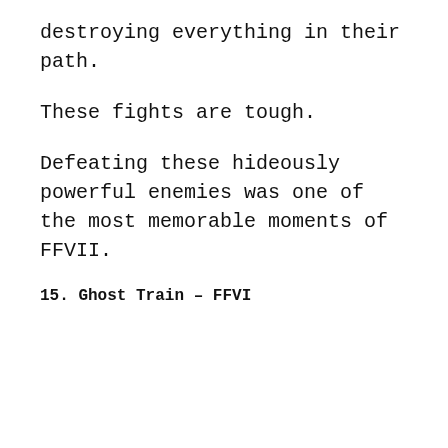destroying everything in their path.
These fights are tough.
Defeating these hideously powerful enemies was one of the most memorable moments of FFVII.
15. Ghost Train – FFVI